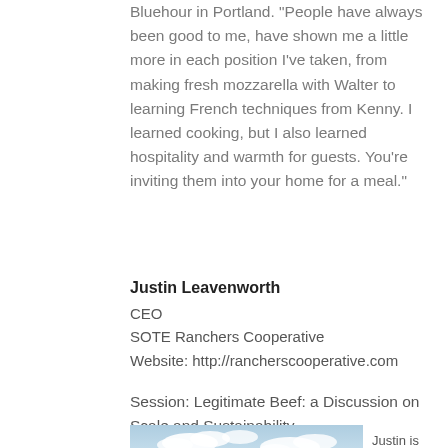Bluehour in Portland. “People have always been good to me, have shown me a little more in each position I’ve taken, from making fresh mozzarella with Walter to learning French techniques from Kenny. I learned cooking, but I also learned hospitality and warmth for guests. You’re inviting them into your home for a meal.”
Justin Leavenworth
CEO
SOTE Ranchers Cooperative
Website: http://rancherscooperative.com
Session: Legitimate Beef: a Discussion on Scale and Sustainability
[Figure (photo): Photograph of a person standing outdoors in a field under a partly cloudy sky, partially cropped at the bottom of the page. Text beside the image begins 'Justin is CEO of...']